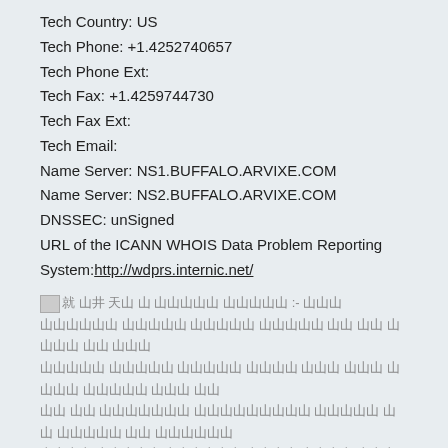Tech Country: US
Tech Phone: +1.4252740657
Tech Phone Ext:
Tech Fax: +1.4259744730
Tech Fax Ext:
Tech Email:
Name Server: NS1.BUFFALO.ARVIXE.COM
Name Server: NS2.BUFFALO.ARVIXE.COM
DNSSEC: unSigned
URL of the ICANN WHOIS Data Problem Reporting System: http://wdprs.internic.net/
[Figure (other): Broken image followed by garbled/encoded text in an unknown script]